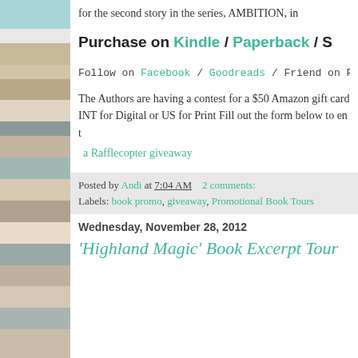for the second story in the series, AMBITION, in
Purchase on Kindle / Paperback / S
Follow on Facebook / Goodreads / Friend on Facebook
The Authors are having a contest for a $50 Amazon gift card INT for Digital or US for Print Fill out the form below to ent a Rafflecopter giveaway
Posted by Andi at 7:04 AM   2 comments:
Labels: book promo, giveaway, Promotional Book Tours
Wednesday, November 28, 2012
'Highland Magic' Book Excerpt Tour